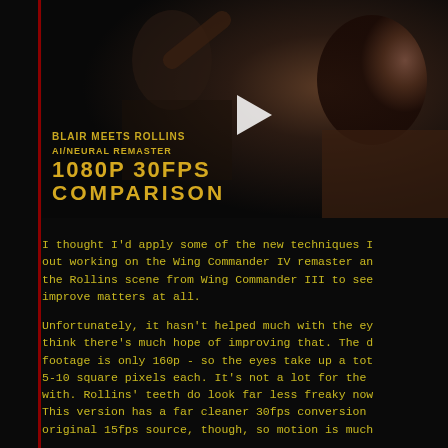[Figure (screenshot): Video thumbnail showing two people, overlaid with text: 'BLAIR MEETS ROLLINS AI/NEURAL REMASTER 1080P 30FPS COMPARISON' in gold/yellow bold font, with a play button icon in the center.]
I thought I'd apply some of the new techniques I out working on the Wing Commander IV remaster an the Rollins scene from Wing Commander III to see improve matters at all.
Unfortunately, it hasn't helped much with the ey think there's much hope of improving that. The footage is only 160p - so the eyes take up a to 5-10 square pixels each. It's not a lot for the with. Rollins' teeth do look far less freaky now This version has a far cleaner 30fps conversion original 15fps source, though, so motion is much
Overall, considering this is an upscale of 675%, think it looks that bad.